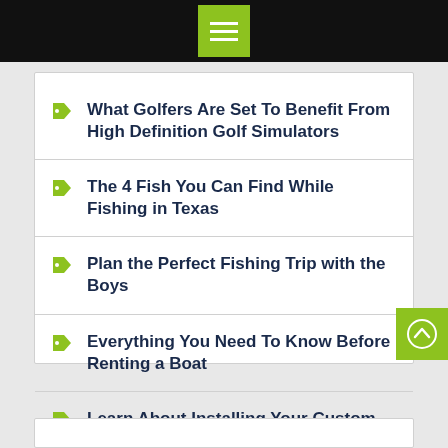Menu
What Golfers Are Set To Benefit From High Definition Golf Simulators
The 4 Fish You Can Find While Fishing in Texas
Plan the Perfect Fishing Trip with the Boys
Everything You Need To Know Before Renting a Boat
Learn About Installing Your Custom Boat Slip Cover